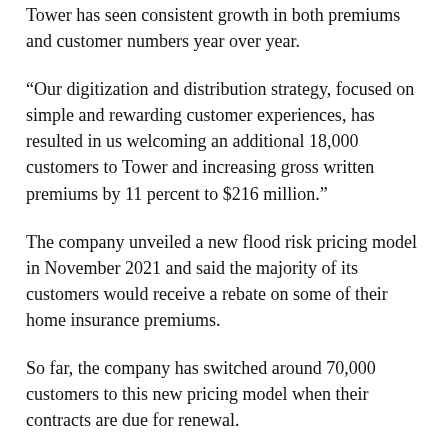Tower has seen consistent growth in both premiums and customer numbers year over year.
“Our digitization and distribution strategy, focused on simple and rewarding customer experiences, has resulted in us welcoming an additional 18,000 customers to Tower and increasing gross written premiums by 11 percent to $216 million.”
The company unveiled a new flood risk pricing model in November 2021 and said the majority of its customers would receive a rebate on some of their home insurance premiums.
So far, the company has switched around 70,000 customers to this new pricing model when their contracts are due for renewal.
It said it also plans to add other climate-related risks to its assessment tool in the coming year, including coastal flooding and erosion and storms.